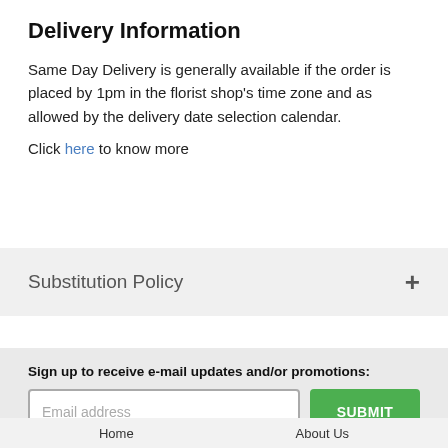Delivery Information
Same Day Delivery is generally available if the order is placed by 1pm in the florist shop's time zone and as allowed by the delivery date selection calendar.
Click here to know more
Substitution Policy
Sign up to receive e-mail updates and/or promotions:
Home    About Us